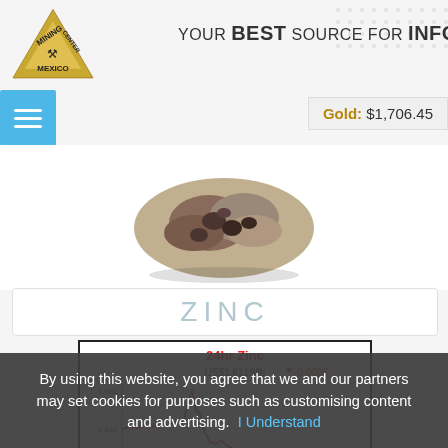[Figure (logo): Mining Center Mexico triangular gold logo with pickaxes icon]
YOUR BEST SOURCE FOR INFORMATION
[Figure (photo): Zinc ore rock specimen on white background]
ZINC
[Figure (line-chart): 24hr Zinc price chart showing US$1.6119/lb with change -0.0096, from www.kitco.com, Aug 31, 2022 20:32 NY time]
By using this website, you agree that we and our partners may set cookies for purposes such as customising content and advertising.  I Understand